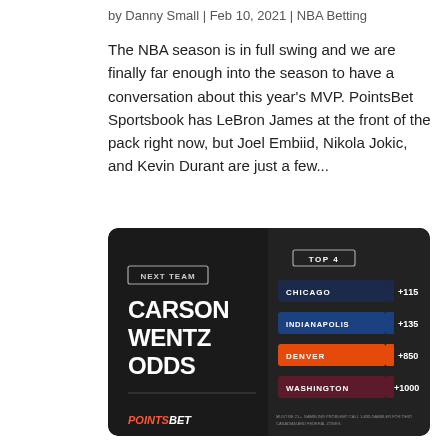by Danny Small | Feb 10, 2021 | NBA Betting
The NBA season is in full swing and we are finally far enough into the season to have a conversation about this year’s MVP. PointsBet Sportsbook has LeBron James at the front of the pack right now, but Joel Embiid, Nikola Jokic, and Kevin Durant are just a few…
[Figure (infographic): PointsBet Sportsbook infographic showing Carson Wentz Next Team odds. Left panel (dark): 'NEXT TEAM' label, 'CARSON WENTZ ODDS' in large white text. Right panel (dark): 'TOP 4' header, listings: CHICAGO +115 (navy bar), INDIANAPOLIS +135 (blue bar), DENVER +850 (orange bar), WASHINGTON +1000 (maroon bar). PointsBet logo at bottom left.]